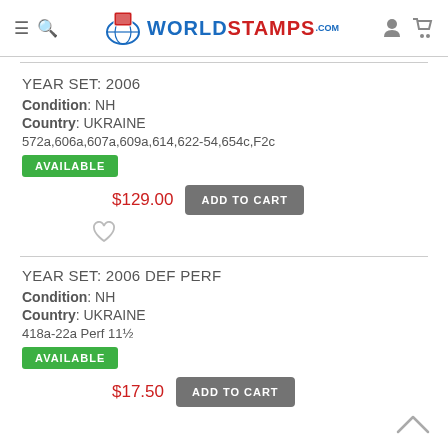WorldStamps.com
YEAR SET: 2006
Condition: NH
Country: UKRAINE
572a,606a,607a,609a,614,622-54,654c,F2c
AVAILABLE
$129.00  ADD TO CART
YEAR SET: 2006 DEF PERF
Condition: NH
Country: UKRAINE
418a-22a Perf 11½
AVAILABLE
$17.50  ADD TO CART